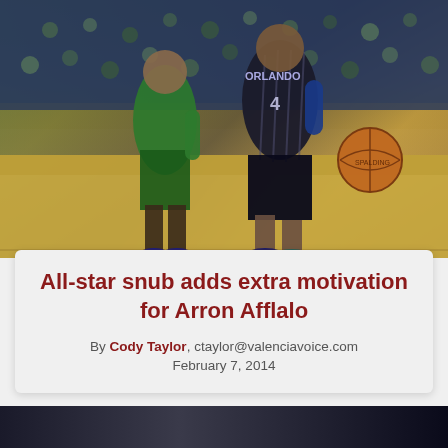[Figure (photo): Basketball game photo showing an Orlando Magic player (#4) in black pinstripe uniform dribbling past a Boston Celtics player in green uniform, with basketball visible and crowd in background]
All-star snub adds extra motivation for Arron Afflalo
By Cody Taylor, ctaylor@valenciavoice.com
February 7, 2014
[Figure (photo): Bottom portion of another basketball game photo, dark scene with crowd visible]